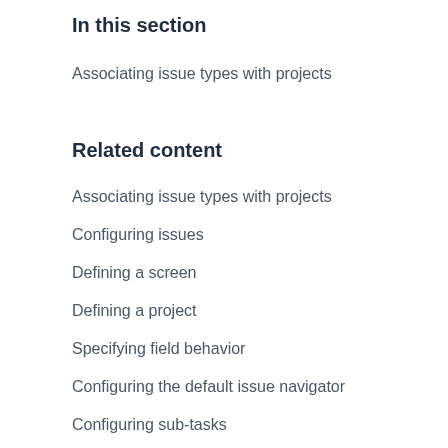In this section
Associating issue types with projects
Related content
Associating issue types with projects
Configuring issues
Defining a screen
Defining a project
Specifying field behavior
Configuring the default issue navigator
Configuring sub-tasks
Configuring projects
Configuring a custom field